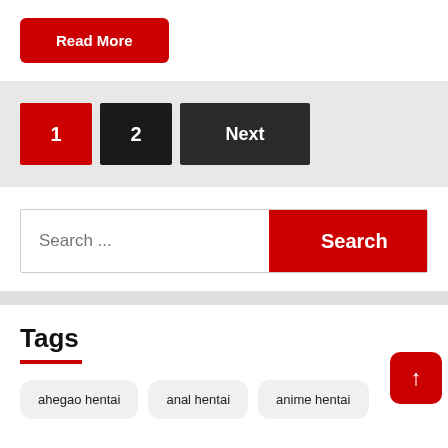Read More
1  2  Next
Search ...
Tags
ahegao hentai  anal hentai  anime hentai